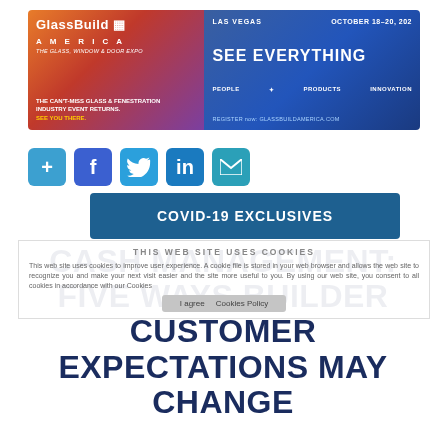[Figure (infographic): GlassBuild America banner advertisement for Las Vegas October 18-20, with 'See Everything - People, Products, Innovation' tagline and register at glassbuildamerica.com]
[Figure (infographic): Social media share icons: plus, Facebook, Twitter, LinkedIn, email - all in blue/teal square buttons]
COVID-19 EXCLUSIVES
CASH MANAGEMENT: FIVE WAYS BUILDER CUSTOMER EXPECTATIONS MAY CHANGE
THIS WEB SITE USES COOKIES
This web site uses cookies to improve user experience. A cookie file is stored in your web browser and allows the web site to recognize you and make your next visit easier and the site more useful to you. By using our web site, you consent to all cookies in accordance with our Cookies